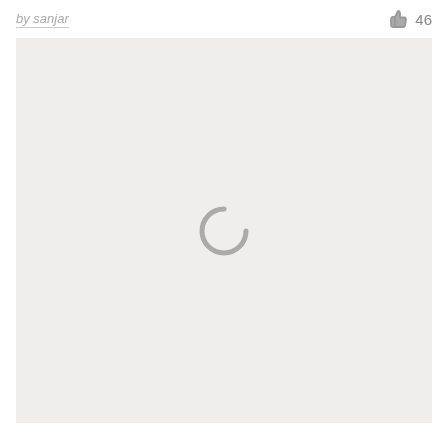by sanjar   👍 46
[Figure (screenshot): A light gray rectangular content area with a loading spinner (partial circle arc) centered in it, indicating content is loading.]